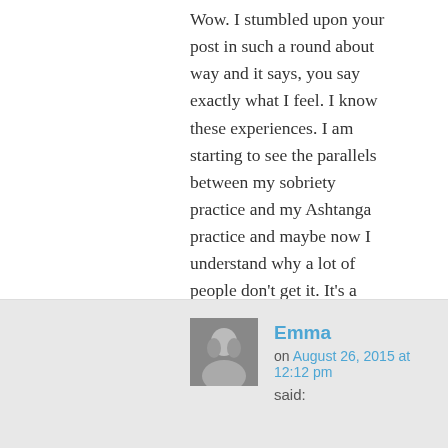Wow. I stumbled upon your post in such a round about way and it says, you say exactly what I feel. I know these experiences. I am starting to see the parallels between my sobriety practice and my Ashtanga practice and maybe now I understand why a lot of people don't get it. It's a struggle. It's a struggle that I need. A struggle to keep me sane and present for my own life. Thank you so much for speaking the words that I wanted, needed to hear. It's been almost a month since I last practiced. I checked out. I'm not sure why, but I did. My practice (Ashtanga and sobriety) was feeling so good…and then… Thank you for speaking the words I needed to hear. to heal.
Reply ↓
Emma on August 26, 2015 at 12:12 pm said: